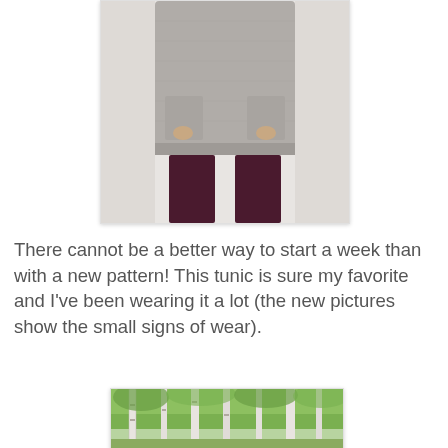[Figure (photo): A person wearing a gray knit tunic with pockets and dark burgundy/maroon leggings, photographed from the waist down, standing against a white wall.]
There cannot be a better way to start a week than with a new pattern! This tunic is sure my favorite and I've been wearing it a lot (the new pictures show the small signs of wear).
[Figure (photo): A birch forest with tall white birch trees and lush green foliage, photographed in daylight.]